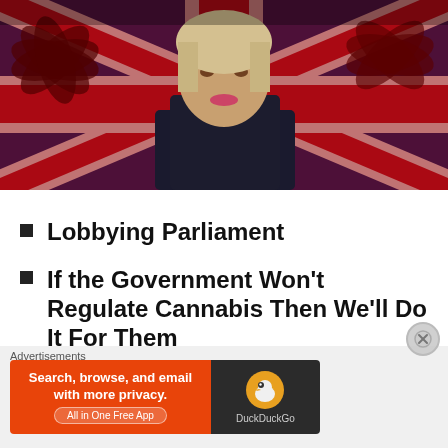[Figure (photo): Photo of a woman (appears to be a UK politician) against a background combining UK Union Jack flag imagery and cannabis leaf overlays in red and dark tones.]
Lobbying Parliament
If the Government Won't Regulate Cannabis Then We'll Do It For Them
The CBD Market
Advertisements
[Figure (infographic): DuckDuckGo advertisement banner: Search, browse, and email with more privacy. All in One Free App. Orange background with DuckDuckGo logo on dark right panel.]